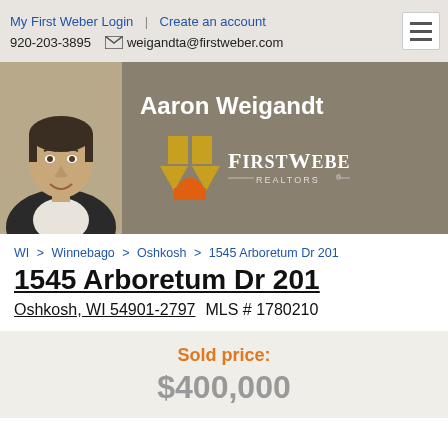My First Weber Login | Create an account
920-203-3895  weigandta@firstweber.com
[Figure (photo): Agent banner with photo of Aaron Weigandt and First Weber Realtors logo on taupe background]
Aaron Weigandt
WI > Winnebago > Oshkosh > 1545 Arboretum Dr 201
1545 Arboretum Dr 201
Oshkosh, WI 54901-2797   MLS # 1780210
Sold price:
$400,000